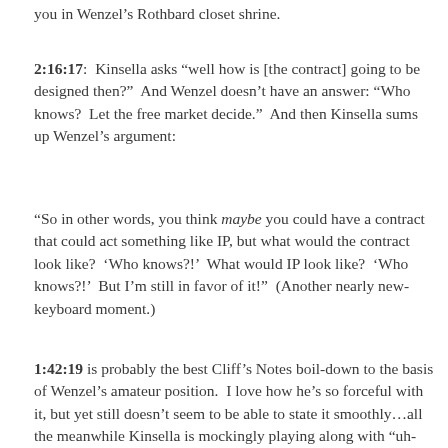you in Wenzel’s Rothbard closet shrine.
2:16:17:  Kinsella asks “well how is [the contract] going to be designed then?”  And Wenzel doesn’t have an answer: “Who knows?  Let the free market decide.”  And then Kinsella sums up Wenzel’s argument:
“So in other words, you think maybe you could have a contract that could act something like IP, but what would the contract look like?  ‘Who knows?!’  What would IP look like?  ‘Who knows?!’  But I’m still in favor of it!”  (Another nearly new-keyboard moment.)
1:42:19 is probably the best Cliff’s Notes boil-down to the basis of Wenzel’s amateur position.  I love how he’s so forceful with it, but yet still doesn’t seem to be able to state it smoothly…all the meanwhile Kinsella is mockingly playing along with “uh-huh”s as if he hasn’t heard this crap a…